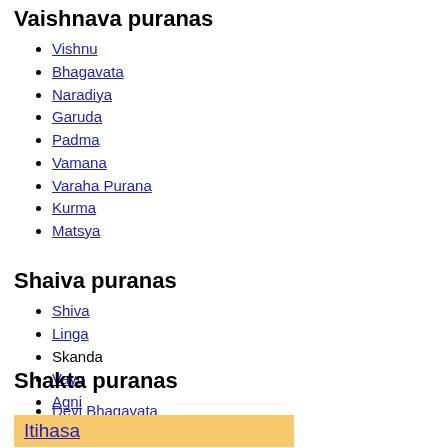Vaishnava puranas
Vishnu
Bhagavata
Naradiya
Garuda
Padma
Vamana
Varaha Purana
Kurma
Matsya
Shaiva puranas
Shiva
Linga
Skanda
Vayu
Agni
Shakta puranas
Devi Bhagavata
Itihasa